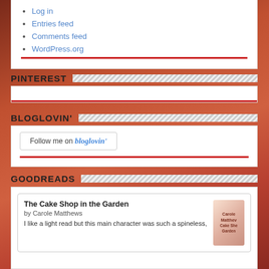Log in
Entries feed
Comments feed
WordPress.org
PINTEREST
[Figure (other): Empty Pinterest widget panel with red bottom bar]
BLOGLOVIN'
[Figure (other): Bloglovin follow button widget: 'Follow me on bloglovin']
GOODREADS
The Cake Shop in the Garden by Carole Matthews I like a light read but this main character was such a spineless,